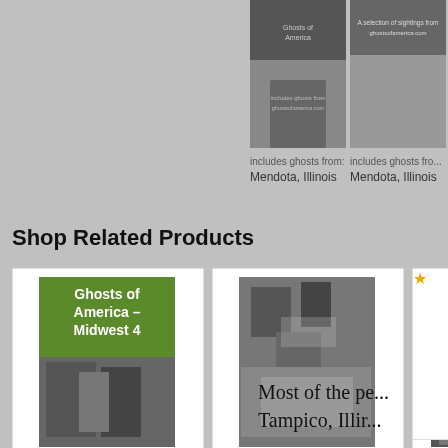[Figure (photo): Two book covers partially visible at top right: ghost-themed books, black and white photography]
includes ghosts from: Mendota, Illinois
includes ghosts fro... Mendota, Illinois
Shop Related Products
[Figure (photo): Book cover: Ghosts of America - Midwest 4, green and black cover with cemetery photo]
Ghosts of America - Midwest 4 (Ghos...
$12.99 prime (4 reviews, 3.5 stars)
[Figure (photo): Book cover: Ghosts Of America 18 - The Wooden Leg, aerial cemetery photo]
Ghosts Of America 18 – The Wooden Leg
$12.99 prime (6 reviews, 5 stars)
[Figure (photo): Book cover: Ghosts of America - Illinois, dark cover with road/path photo]
Ghosts of America - Illinois (Ghosts of...
$12.99 prime (3 reviews, 2 stars)
Most of the pe... Tampico, Illir...